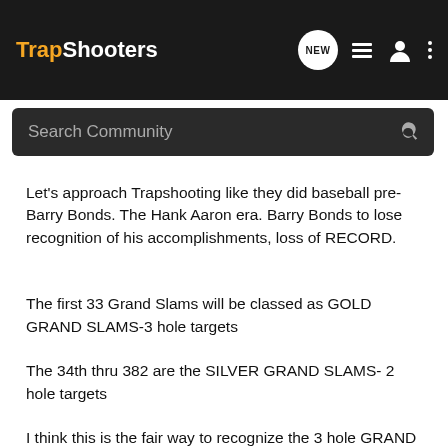TrapShooters
Search Community
Let's approach Trapshooting like they did baseball pre-Barry Bonds. The Hank Aaron era. Barry Bonds to lose recognition of his accomplishments, loss of RECORD.
The first 33 Grand Slams will be classed as GOLD GRAND SLAMS-3 hole targets
The 34th thru 382 are the SILVER GRAND SLAMS- 2 hole targets
I think this is the fair way to recognize the 3 hole GRAND SLAMMERS from the
2 Hole GRAND SLAMS.